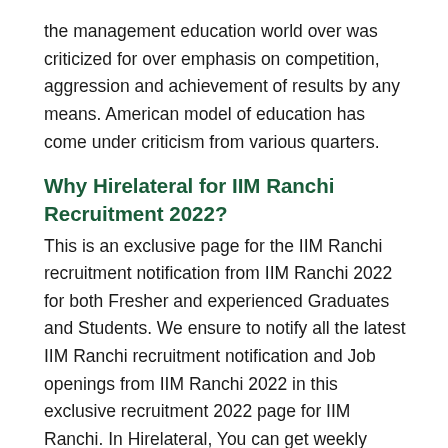the management education world over was criticized for over emphasis on competition, aggression and achievement of results by any means. American model of education has come under criticism from various quarters.
Why Hirelateral for IIM Ranchi Recruitment 2022?
This is an exclusive page for the IIM Ranchi recruitment notification from IIM Ranchi 2022 for both Fresher and experienced Graduates and Students. We ensure to notify all the latest IIM Ranchi recruitment notification and Job openings from IIM Ranchi 2022 in this exclusive recruitment 2022 page for IIM Ranchi. In Hirelateral, You can get weekly Employment News, Government Jobs, Sarkari Naukri, Sarkari Result Notification for completely Free. We ensure that none